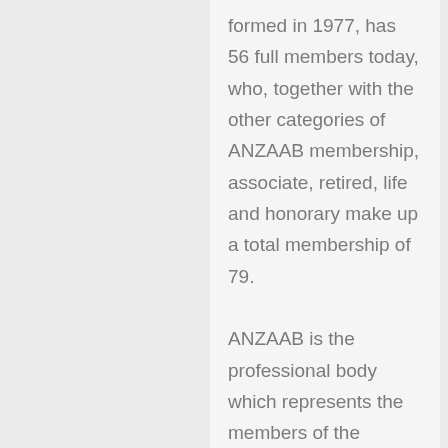formed in 1977, has 56 full members today, who, together with the other categories of ANZAAB membership, associate, retired, life and honorary make up a total membership of 79.

ANZAAB is the professional body which represents the members of the antiquarian book business in Australia